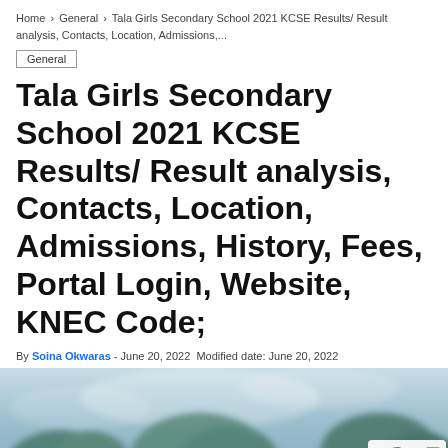Home › General › Tala Girls Secondary School 2021 KCSE Results/ Result analysis, Contacts, Location, Admissions,...
General
Tala Girls Secondary School 2021 KCSE Results/ Result analysis, Contacts, Location, Admissions, History, Fees, Portal Login, Website, KNEC Code;
By Soina Okwaras - June 20, 2022 Modified date: June 20, 2022
[Figure (photo): Outdoor photo showing trees against a hazy sky, blurred background]